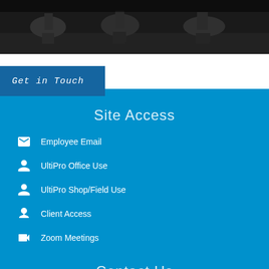[Figure (photo): Black and white photo of office chairs in a dark room]
Get in Touch
Site Access
Employee Email
UltiPro Office Use
UltiPro Shop/Field Use
Client Access
Zoom Meetings
Contact Us